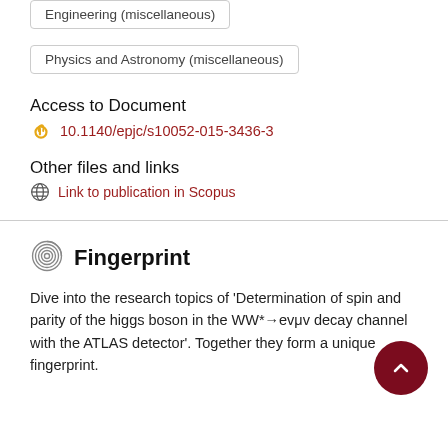Engineering (miscellaneous)
Physics and Astronomy (miscellaneous)
Access to Document
10.1140/epjc/s10052-015-3436-3
Other files and links
Link to publication in Scopus
Fingerprint
Dive into the research topics of 'Determination of spin and parity of the higgs boson in the WW*→evμv decay channel with the ATLAS detector'. Together they form a unique fingerprint.